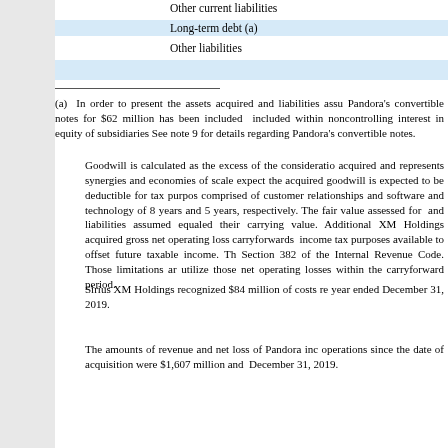| Other current liabilities |
| Long-term debt (a) |
| Other liabilities |
|  |
(a) In order to present the assets acquired and liabilities assumed, Pandora's convertible notes for $62 million has been included within noncontrolling interest in equity of subsidiaries. See note 9 for details regarding Pandora's convertible notes.
Goodwill is calculated as the excess of the consideration acquired and represents synergies and economies of scale expected; the acquired goodwill is expected to be deductible for tax purposes; comprised of customer relationships and software and technology of 8 years and 5 years, respectively. The fair value assessed for and liabilities assumed equaled their carrying value. Additionally, XM Holdings acquired gross net operating loss carryforwards income tax purposes available to offset future taxable income. The Section 382 of the Internal Revenue Code. Those limitations are utilize those net operating losses within the carryforward period.
Sirius XM Holdings recognized $84 million of costs related to year ended December 31, 2019.
The amounts of revenue and net loss of Pandora included in operations since the date of acquisition were $1,607 million and December 31, 2019.